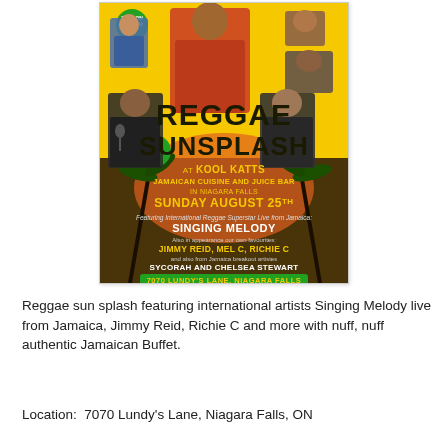[Figure (illustration): Reggae Sunsplash Part IV event poster for Kool Katts Jamaican Cuisine and Juice Bar in Niagara Falls. Yellow background with photos of performers including Singing Melody, Jimmy Reid, Mel C, Richie C, Sycorah and Chelsea Stewart. Sunday August 25th. Address: 7070 Lundy's Lane, Niagara Falls.]
Reggae sun splash featuring international artists Singing Melody live from Jamaica, Jimmy Reid, Richie C and more with nuff, nuff authentic Jamaican Buffet.
Location:  7070 Lundy's Lane, Niagara Falls, ON